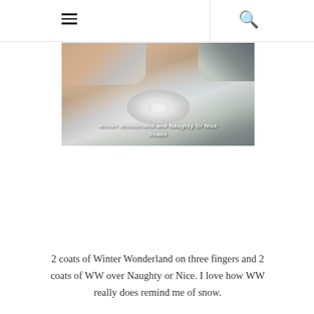navigation menu and search icon
[Figure (photo): Close-up photo of fingers with glittery nail polish holding an open compact or pan of shimmery silver/white eyeshadow or nail product. The product appears sparkly and snow-like. Text overlay reads: 'Winter Wonderland and Naughty Or Nice Shade']
2 coats of Winter Wonderland on three fingers and 2 coats of WW over Naughty or Nice. I love how WW really does remind me of snow.